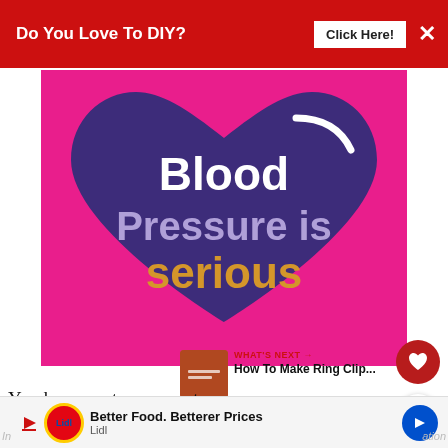[Figure (infographic): Red banner advertisement: 'Do You Love To DIY? Click Here!' with a close X button]
[Figure (illustration): Infographic showing a large purple heart on a pink/magenta background with text: 'Blood Pressure is serious' — 'Blood' and 'is' in white, 'Pressure' in light purple/lavender, 'serious' in orange/gold. A small white curved highlight on the upper right of the heart.]
You know, nature vs nurture.
[Figure (infographic): Bottom advertisement banner for Lidl: 'Better Food. Betterer Prices / Lidl' with Lidl logo and a blue navigation arrow icon. Partial text 'In' on left and 'ation' on right partially visible.]